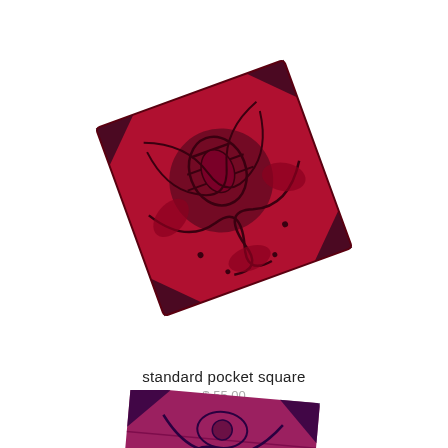[Figure (photo): A red and dark navy blue paisley patterned pocket square folded into a square shape and photographed at an angle on a white background. The fabric features ornate floral and scroll designs with a central medallion motif.]
standard pocket square
$ 55.00
[Figure (photo): Partial view of a second pocket square in magenta/purple tones with dark blue paisley pattern, showing the corner of the folded square from below, partially cropped at the bottom of the page.]